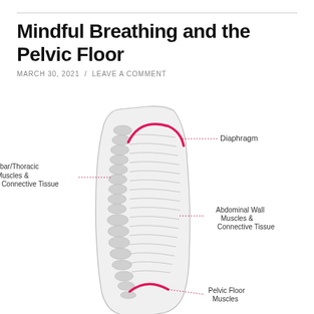Mindful Breathing and the Pelvic Floor
MARCH 30, 2021 / LEAVE A COMMENT
[Figure (illustration): Anatomical side-view diagram of the torso showing the Diaphragm (pink arc at top), Lumbar/Thoracic Muscles & Connective Tissue (left label), Abdominal Wall Muscles & Connective Tissue (right label), and Pelvic Floor Muscles (pink arc at bottom), with the spine/vertebrae visible on the left side and horizontal rib-like lines across the interior.]